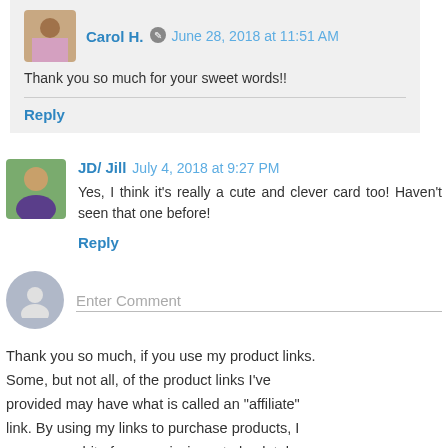Carol H. June 28, 2018 at 11:51 AM
Thank you so much for your sweet words!!
Reply
JD/ Jill July 4, 2018 at 9:27 PM
Yes, I think it's really a cute and clever card too! Haven't seen that one before!
Reply
Enter Comment
Thank you so much, if you use my product links. Some, but not all, of the product links I've provided may have what is called an "affiliate" link. By using my links to purchase products, I may earn a bit of a commission, at absolutely no